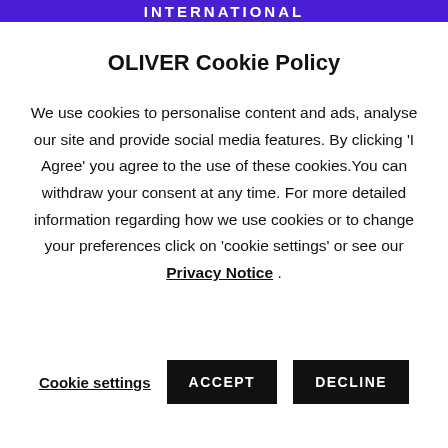INTERNATIONAL
OLIVER Cookie Policy
We use cookies to personalise content and ads, analyse our site and provide social media features. By clicking 'I Agree' you agree to the use of these cookies.You can withdraw your consent at any time. For more detailed information regarding how we use cookies or to change your preferences click on 'cookie settings' or see our Privacy Notice .
Cookie settings  ACCEPT  DECLINE